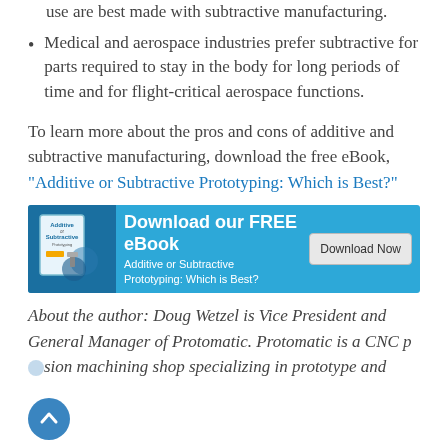use are best made with subtractive manufacturing.
Medical and aerospace industries prefer subtractive for parts required to stay in the body for long periods of time and for flight-critical aerospace functions.
To learn more about the pros and cons of additive and subtractive manufacturing, download the free eBook, “Additive or Subtractive Prototyping: Which is Best?”
[Figure (infographic): Blue banner advertisement: Download our FREE eBook - Additive or Subtractive Prototyping: Which is Best? with Download Now button and book cover graphic on left.]
About the author: Doug Wetzel is Vice President and General Manager of Protomatic. Protomatic is a CNC precision machining shop specializing in prototype and